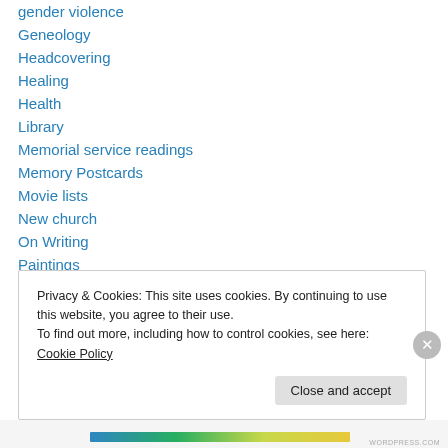gender violence
Geneology
Headcovering
Healing
Health
Library
Memorial service readings
Memory Postcards
Movie lists
New church
On Writing
Paintings
Poetry
Privacy & Cookies: This site uses cookies. By continuing to use this website, you agree to their use. To find out more, including how to control cookies, see here: Cookie Policy
Close and accept